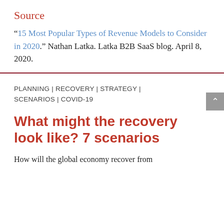Source
“15 Most Popular Types of Revenue Models to Consider in 2020.” Nathan Latka. Latka B2B SaaS blog. April 8, 2020.
PLANNING | RECOVERY | STRATEGY | SCENARIOS | COVID-19
What might the recovery look like? 7 scenarios
How will the global economy recover from